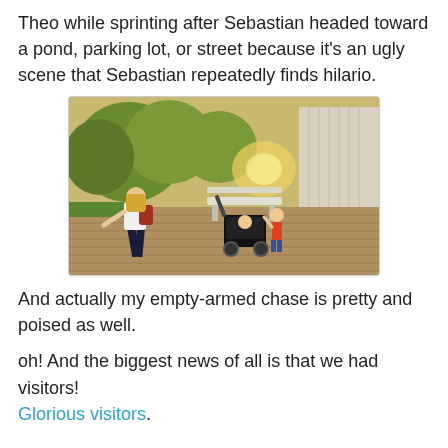Theo while sprinting after Sebastian headed toward a pond, parking lot, or street because it’s an ugly scene that Sebastian repeatedly finds hilario.
[Figure (photo): Outdoor photo on a wooden deck. A woman with long blonde hair wearing a white top and dark pants is leaning/lunging to the left. A stroller with a baby and a small child standing next to it are in the center-right. A park bench and trees with sunlight filtering through are visible in the background, along with a brick building on the right.]
And actually my empty-armed chase is pretty and poised as well.
oh! And the biggest news of all is that we had visitors! Glorious visitors.